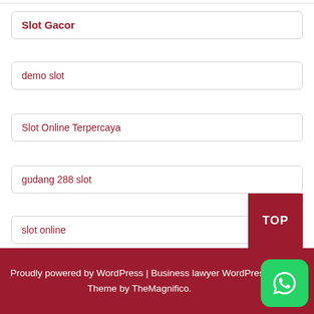Slot Gacor
demo slot
Slot Online Terpercaya
gudang 288 slot
slot online
Slot Gacor
Proudly powered by WordPress |  Business lawyer WordPress Theme by TheMagnifico.